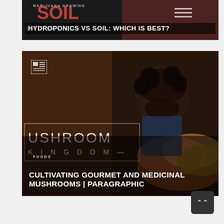[Figure (screenshot): Website card showing 'MARIJUANA GROWING' category label and article title 'HYDROPONICS VS SOIL: WHICH IS BEST?' on dark background with partial text visible]
[Figure (screenshot): Website card showing a man with curly hair and beard examining mushrooms, with 'MUSHROOM KINGDOM' overlay text, 'FOODS' category label, and article title 'CULTIVATING GOURMET AND MEDICINAL MUSHROOMS | PARAGRAPHIC']